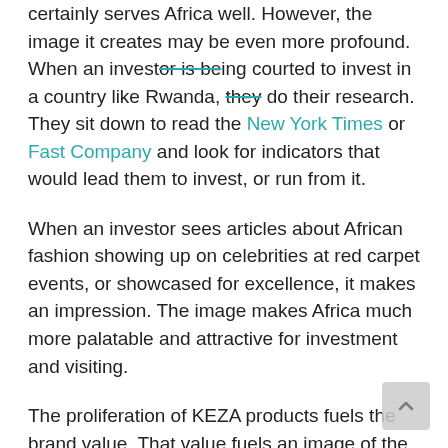certainly serves Africa well. However, the image it creates may be even more profound. When an investor is being courted to invest in a country like Rwanda, they do their research. They sit down to read the New York Times or Fast Company and look for indicators that would lead them to invest, or run from it.
When an investor sees articles about African fashion showing up on celebrities at red carpet events, or showcased for excellence, it makes an impression. The image makes Africa much more palatable and attractive for investment and visiting.
The proliferation of KEZA products fuels the brand value. That value fuels an image of the beauty and excellence of Africa. That image fuels investment and tourism, contributing significantly to a solid economical foundation for Africa.